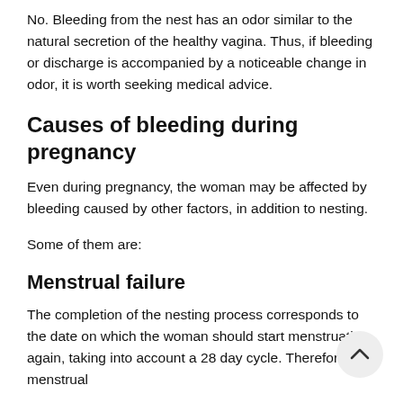No. Bleeding from the nest has an odor similar to the natural secretion of the healthy vagina. Thus, if bleeding or discharge is accompanied by a noticeable change in odor, it is worth seeking medical advice.
Causes of bleeding during pregnancy
Even during pregnancy, the woman may be affected by bleeding caused by other factors, in addition to nesting.
Some of them are:
Menstrual failure
The completion of the nesting process corresponds to the date on which the woman should start menstruating again, taking into account a 28 day cycle. Therefore, menstrual